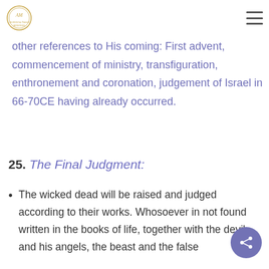Awakening Impact Ministries logo and navigation menu
other references to His coming: First advent, commencement of ministry, transfiguration, enthronement and coronation, judgement of Israel in 66-70CE having already occurred.
25. The Final Judgment:
The wicked dead will be raised and judged according to their works. Whosoever in not found written in the books of life, together with the devil and his angels, the beast and the false